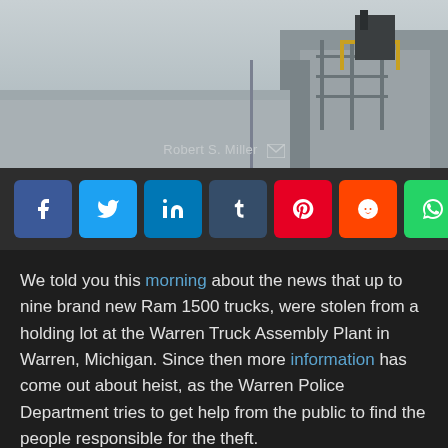[Figure (photo): Background photo of an industrial building/factory structure with steel framework and equipment, set against an overcast sky. Author byline 'Robert S. Miller' with mail icon overlaid at bottom center.]
[Figure (infographic): Social media share buttons row: Facebook (blue), Twitter (light blue), LinkedIn (dark blue), Tumblr (dark slate), Pinterest (red), Reddit (orange-red), WhatsApp (green), Email (dark gray)]
We told you this morning about the news that up to nine brand new Ram 1500 trucks, were stolen from a holding lot at the Warren Truck Assembly Plant in Warren, Michigan. Since then more information has come out about heist, as the Warren Police Department tries to get help from the public to find the people responsible for the theft.